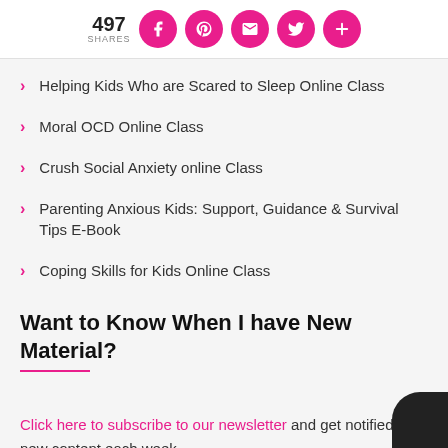497 SHARES
Helping Kids Who are Scared to Sleep Online Class
Moral OCD Online Class
Crush Social Anxiety online Class
Parenting Anxious Kids: Support, Guidance & Survival Tips E-Book
Coping Skills for Kids Online Class
Want to Know When I have New Material?
Click here to subscribe to our newsletter and get notified of new content each week.